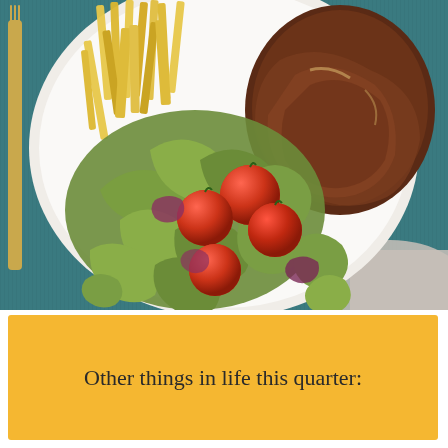[Figure (photo): Overhead view of a white plate with steak, french fries, mixed green salad with cherry tomatoes and red onion, on a teal/blue textured placemat with a gold fork visible on the left side.]
Other things in life this quarter: